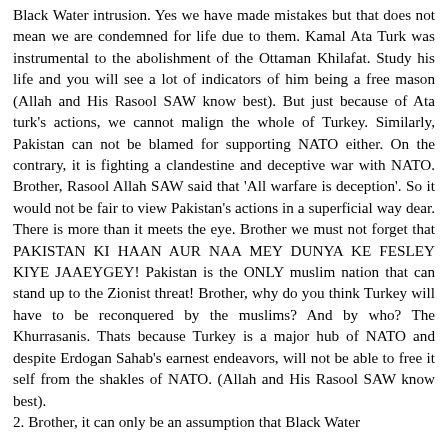Black Water intrusion. Yes we have made mistakes but that does not mean we are condemned for life due to them. Kamal Ata Turk was instrumental to the abolishment of the Ottaman Khilafat. Study his life and you will see a lot of indicators of him being a free mason (Allah and His Rasool SAW know best). But just because of Ata turk's actions, we cannot malign the whole of Turkey. Similarly, Pakistan can not be blamed for supporting NATO either. On the contrary, it is fighting a clandestine and deceptive war with NATO. Brother, Rasool Allah SAW said that 'All warfare is deception'. So it would not be fair to view Pakistan's actions in a superficial way dear. There is more than it meets the eye. Brother we must not forget that PAKISTAN KI HAAN AUR NAA MEY DUNYA KE FESLEY KIYE JAAEYGEY! Pakistan is the ONLY muslim nation that can stand up to the Zionist threat! Brother, why do you think Turkey will have to be reconquered by the muslims? And by who? The Khurrasanis. Thats because Turkey is a major hub of NATO and despite Erdogan Sahab's earnest endeavors, will not be able to free it self from the shakles of NATO. (Allah and His Rasool SAW know best).
2. Brother, it can only be an assumption that Black Water